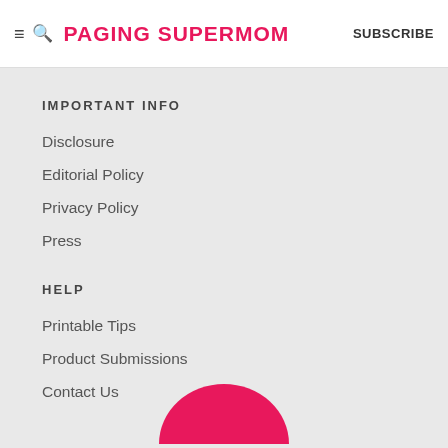≡ 🔍 PAGING SUPERMOM  SUBSCRIBE
IMPORTANT INFO
Disclosure
Editorial Policy
Privacy Policy
Press
HELP
Printable Tips
Product Submissions
Contact Us
[Figure (illustration): Partial pink circle visible at bottom of page, logo element]